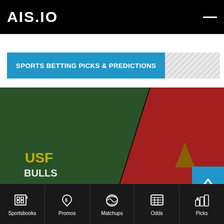AIS.ID
SPORTS BETTING PICKS & PREDICTIONS
[Figure (photo): Sports betting website screenshot showing green and red team banner with two team logos (USF Bulls on left, unidentified team on right)]
Sportsbooks | Promos | Matchups | Odds | Picks